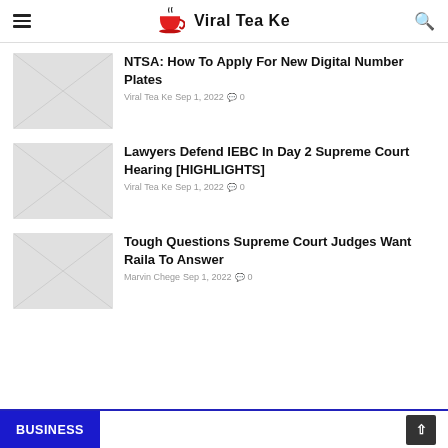Viral Tea Ke
NTSA: How To Apply For New Digital Number Plates
Viral Tea Ke  Sep 1, 2022  0
Lawyers Defend IEBC In Day 2 Supreme Court Hearing [HIGHLIGHTS]
Viral Tea Ke  Sep 1, 2022  0
Tough Questions Supreme Court Judges Want Raila To Answer
Marvin Chege  Sep 1, 2022  0
BUSINESS